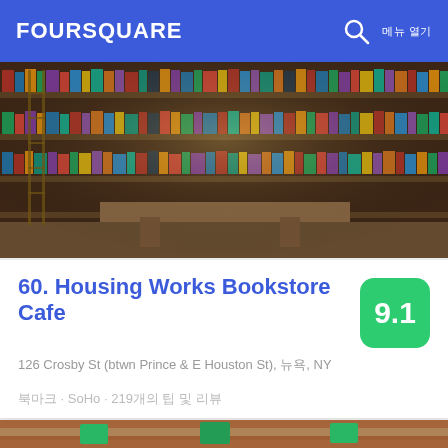FOURSQUARE
[Figure (photo): Interior of a bookstore with tall wooden shelves filled with colorful books, a ladder visible on the left, and warm ambient lighting.]
60. Housing Works Bookstore Cafe
126 Crosby St (btwn Prince & E Houston St), 뉴욕, NY
북마크 · SoHo · 219개의 팁 및 리뷰
[Figure (photo): Close-up of stainless steel food buffet trays with cooked food and green menu label cards.]